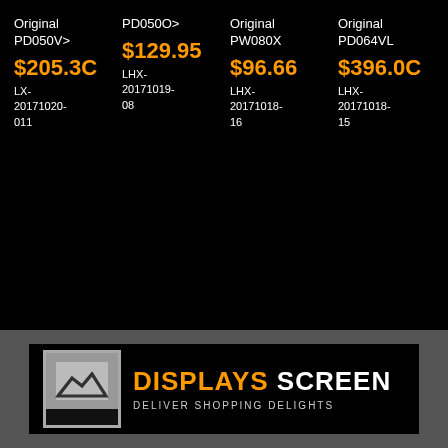Original PD050V
$205.30
LX-20171020-011
PD050O
$129.99
LHX-20171019-08
Original PW080X
$96.66
LHX-20171018-16
Original PD064VL
$396.00
LHX-20171018-15
[Figure (logo): Displays Screen logo with envelope/mountain icon, orange DISPLAYS text, white SCREEN text, tagline DELIVER SHOPPING DELIGHTS]